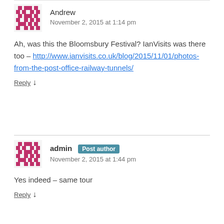Andrew
November 2, 2015 at 1:14 pm
Ah, was this the Bloomsbury Festival? IanVisits was there too – http://www.ianvisits.co.uk/blog/2015/11/01/photos-from-the-post-office-railway-tunnels/
Reply ↓
admin Post author
November 2, 2015 at 1:44 pm
Yes indeed – same tour
Reply ↓